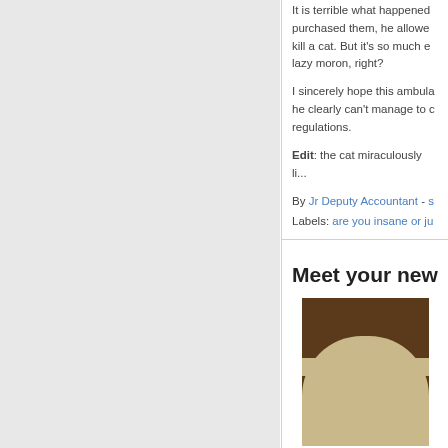It is terrible what happened... purchased them, he allowed... kill a cat. But it's so much e... lazy moron, right?
I sincerely hope this ambula... he clearly can't manage to ... regulations.
Edit: the cat miraculously li...
By Jr Deputy Accountant - ...
Labels: are you insane or ju...
Meet your new...
[Figure (photo): A person wearing a light tan/beige hat against a dark brown background, partially cropped.]